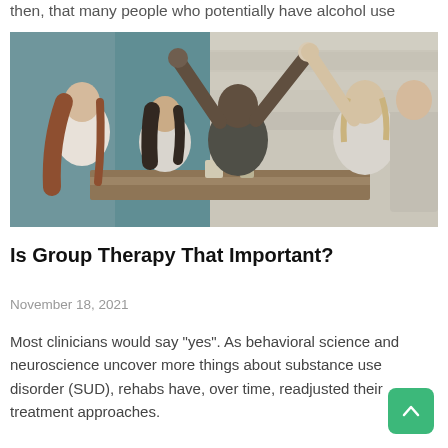then, that many people who potentially have alcohol use
[Figure (photo): Group of people sitting at a table doing a high-five celebration, group therapy session scene]
Is Group Therapy That Important?
November 18, 2021
Most clinicians would say "yes". As behavioral science and neuroscience uncover more things about substance use disorder (SUD), rehabs have, over time, readjusted their treatment approaches.